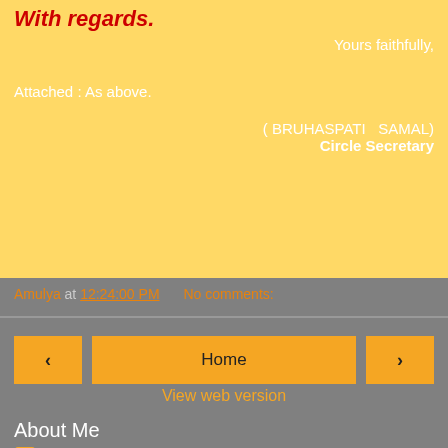With regards.
Yours faithfully,
Attached : As above.
( BRUHASPATI  SAMAL)
Circle Secretary
Amulya at 12:24:00 PM   No comments:
Home
View web version
About Me
Amulya
KENDRAPARA, ORISSA, India
CUTTACK NORTH DIVISION
View my complete profile
Powered by Blogger.